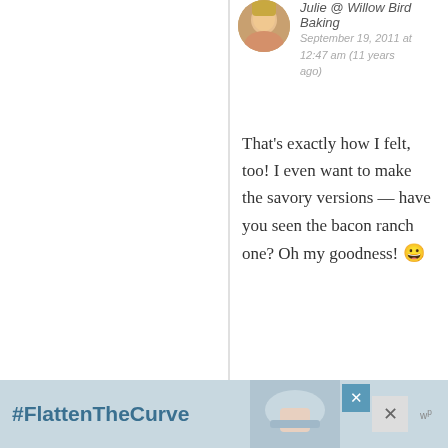Julie @ Willow Bird Baking
September 19, 2011 at 12:47 am (11 years ago)
That's exactly how I felt, too! I even want to make the savory versions — have you seen the bacon ranch one? Oh my goodness! 😀

Thanks!
Reply
Tracy Butler
September 19, 2011 at 5:57 am (11 years ago)
Our pumpkins are the size of golf balls at the
#FlattenTheCurve